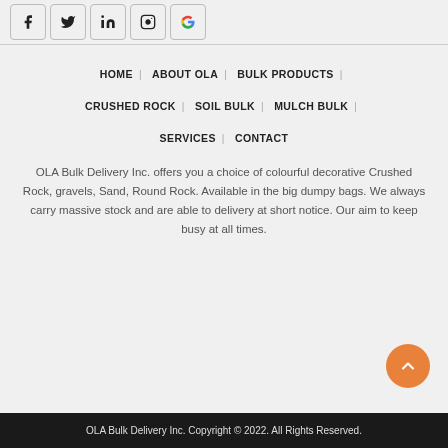Social icons: Facebook, Twitter, LinkedIn, Instagram, Google
HOME | ABOUT OLA | BULK PRODUCTS | CRUSHED ROCK | SOIL BULK | MULCH BULK | SERVICES | CONTACT
OLA Bulk Delivery Inc. offers you a choice of colourful decorative Crushed Rock, gravels, Sand, Round Rock. Available in the big dumpy bags. We always carry massive stock and are able to delivery at short notice. Our aim to keep busy at all times.
OLA Bulk Delivery Inc. Copyright © 2022. All Rights Reserved.